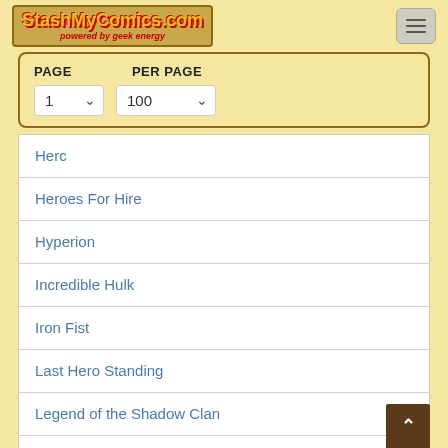StashMyComics.com - powered by geek energy
PAGE  PER PAGE / 1 / 100
Herc
Heroes For Hire
Hyperion
Incredible Hulk
Iron Fist
Last Hero Standing
Legend of the Shadow Clan
Marvel Comics Presents